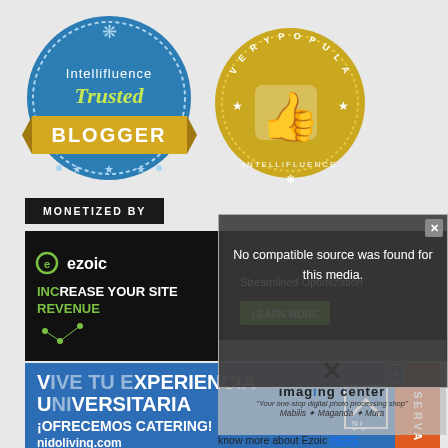[Figure (logo): Intellifluence Trusted Blogger badge - blue circular badge with gold 'BLOGGER' banner]
[Figure (logo): Intellifluence Very Popular badge - gold circular badge with thumbs up icon]
MONETIZED BY
[Figure (screenshot): Ezoic banner ad - Increase Your Site Revenue with Streamlined Optimization and Learn More button]
[Figure (screenshot): Video error popup overlay: 'No compatible source was found for this media.' with close button]
[Figure (illustration): Imaging center overlay with X button, title 'imaging center', tagline 'Your one-stop digital photo processing shop', slogan 'Mabilis * Maganda * Mura']
know more about Ezoic HERE
[Figure (screenshot): Nido Living advertisement - Vive Tu Experiencia Universitaria, Ofrecemos Catering!, nidoliving.com with Reserva button]